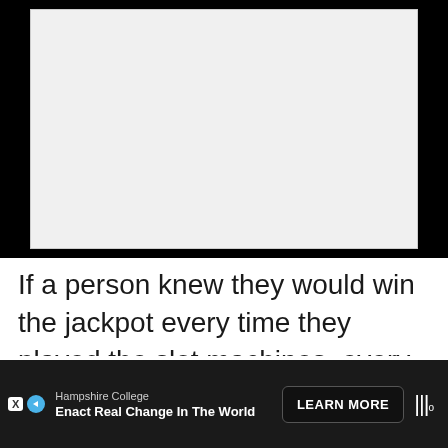[Figure (photo): Large empty/blank image placeholder area with light gray background, bordered, centered on a black background]
If a person knew they would win the jackpot every time they played the slot machines, every person in the world would be at the casino right now winning millions of dollars. But that is not how casinos work. People will walk away from thousands of dollars at a time
[Figure (other): Advertisement banner: Hampshire College 'Enact Real Change In The World' with LEARN MORE button and meter/degree icons]